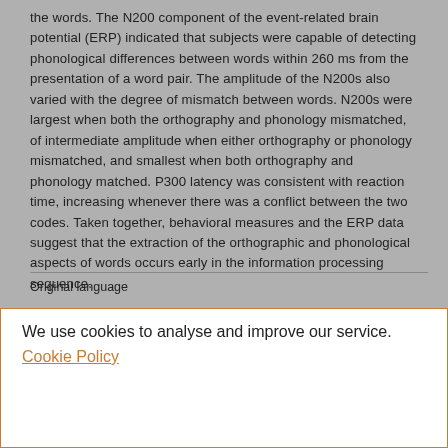the words. The N200 component of the event-related brain potential (ERP) indicated that subjects were capable of detecting phonological differences between words within 260 ms from the presentation of a word pair. The amplitude of the N200s also varied with the degree of mismatch between words. N200s were largest when both the orthography and phonology mismatched, of intermediate amplitude when either orthography or phonology mismatched, and smallest when both orthography and phonology matched. P300 latency was consistent with reaction time, increasing whenever there was a conflict between the two codes. Taken together, behavioral measures and the ERP data suggest that the extraction of the orthographic and phonological aspects of words occurs early in the information processing sequence.
Original language
We use cookies to analyse and improve our service. Cookie Policy